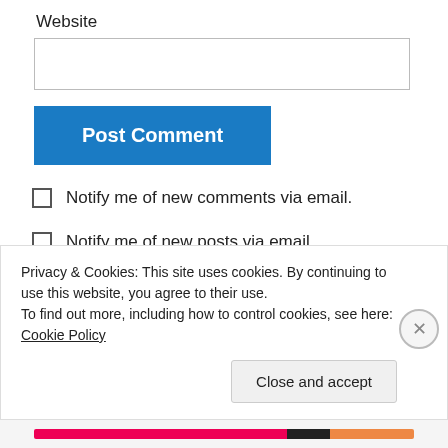Website
[Figure (other): Website text input field (empty)]
[Figure (other): Post Comment button (blue)]
Notify me of new comments via email.
Notify me of new posts via email.
Shannon Dingle (@specialneedsmin) on February 6,
Privacy & Cookies: This site uses cookies. By continuing to use this website, you agree to their use.
To find out more, including how to control cookies, see here: Cookie Policy
Close and accept